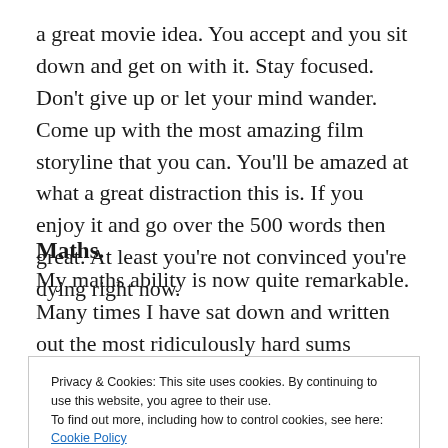a great movie idea. You accept and you sit down and get on with it. Stay focused. Don't give up or let your mind wander. Come up with the most amazing film storyline that you can. You'll be amazed at what a great distraction this is. If you enjoy it and go over the 500 words then great. At least you're not convinced you're dying right now.
Maths.
My maths ability is now quite remarkable. Many times I have sat down and written out the most ridiculously hard sums without giving any thought to the numbers
Privacy & Cookies: This site uses cookies. By continuing to use this website, you agree to their use.
To find out more, including how to control cookies, see here: Cookie Policy
times. I've spent several hours working out seemingly